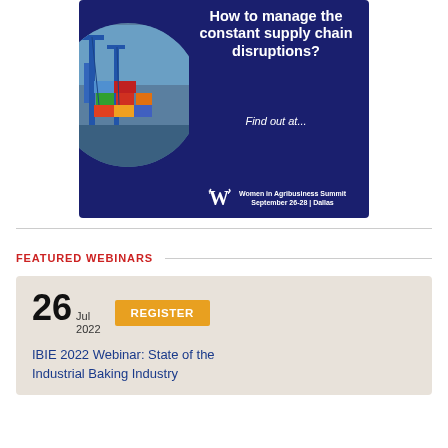[Figure (illustration): Advertisement banner for Women in Agribusiness Summit. Dark navy blue background with a circular photo of shipping containers and cranes on the left. White bold text reads 'How to manage the constant supply chain disruptions?' followed by italic 'Find out at...' and a logo with 'Women in Agribusiness Summit September 26-28 | Dallas'.]
FEATURED WEBINARS
26 Jul 2022 REGISTER IBIE 2022 Webinar: State of the Industrial Baking Industry